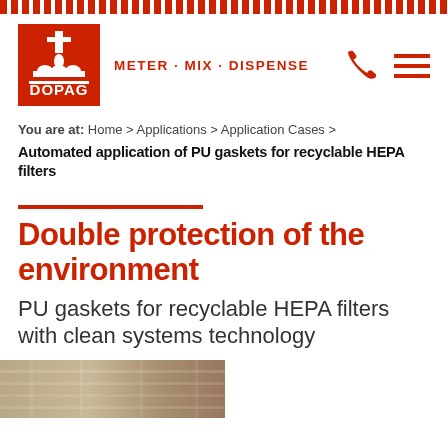[Figure (logo): DOPAG logo with red background, white icon showing dispensing equipment, and METER · MIX · DISPENSE tagline in red]
You are at: Home > Applications > Application Cases >
Automated application of PU gaskets for recyclable HEPA filters
Double protection of the environment
PU gaskets for recyclable HEPA filters with clean systems technology
[Figure (photo): Partial photo of industrial/filter equipment at bottom of page]